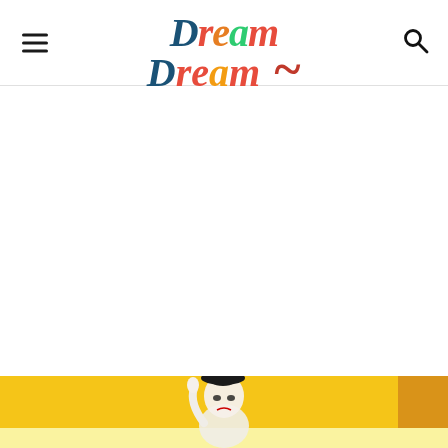Dream A Little Bigger with Allison Murray
[Figure (photo): Woman dressed as a mime with black beret hat, white face paint, against a yellow background]